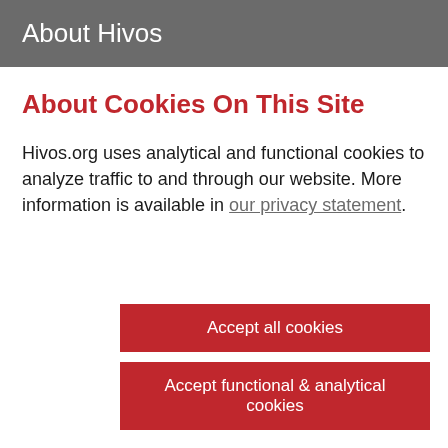About Hivos
About Cookies On This Site
Hivos.org uses analytical and functional cookies to analyze traffic to and through our website. More information is available in our privacy statement.
Accept all cookies
Accept functional & analytical cookies